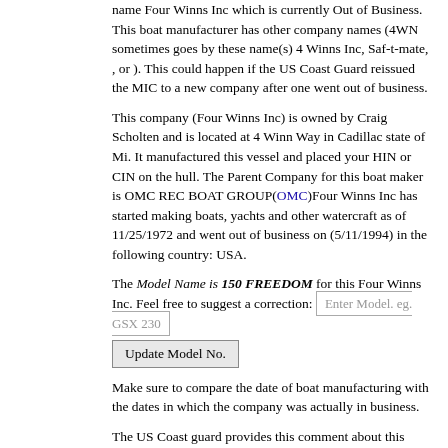name Four Winns Inc which is currently Out of Business. This boat manufacturer has other company names (4WN sometimes goes by these name(s) 4 Winns Inc, Saf-t-mate, , or ). This could happen if the US Coast Guard reissued the MIC to a new company after one went out of business.
This company (Four Winns Inc) is owned by Craig Scholten and is located at 4 Winn Way in Cadillac state of Mi. It manufactured this vessel and placed your HIN or CIN on the hull. The Parent Company for this boat maker is OMC REC BOAT GROUP(OMC)Four Winns Inc has started making boats, yachts and other watercraft as of 11/25/1972 and went out of business on (5/11/1994) in the following country: USA.
The Model Name is 150 FREEDOM for this Four Winns Inc. Feel free to suggest a correction: [Enter Model. eg. GSX 230] [Update Model No.]
Make sure to compare the date of boat manufacturing with the dates in which the company was actually in business.
The US Coast guard provides this comment about this watercraft manufacturer: See Stm. Name Saf-t-mate Inc Changed Name And Mic. 4 Winns Purchased Saf-t-mate Inc In 1975. 1978 Name Change To 4 Winns (dba) Saf-t-mate 11/81. Name Change To 4 Winns. Requested Mic Change. 920916 Change Poc. Was Joie Kennard. 6apr94 Expecting Request T. See Fwn..
| UsedHIN | 4WNT063AB989 |
| --- | --- |
| IsValid | Yes |
| IsValidMIC | Yes |
| HINType | Current |